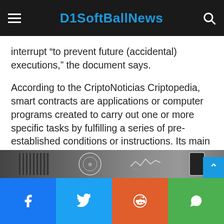D1SoftBallNews
interrupt “to prevent future (accidental) executions,” the document says.
According to the CriptoNoticias Criptopedia, smart contracts are applications or computer programs created to carry out one or more specific tasks by fulfilling a series of pre-established conditions or instructions. Its main benefit is that its fulfillment is not subject to the interpretation of the parties or the approval of an arbitrator, since they are executed automatically when the conditions written in the code are met.
Advertising
[Figure (photo): Partial image strip showing various visual elements including grid lines, a circular emblem, wave pattern, and a phone device against a dark background]
Facebook | Twitter | Reddit | WhatsApp social share buttons